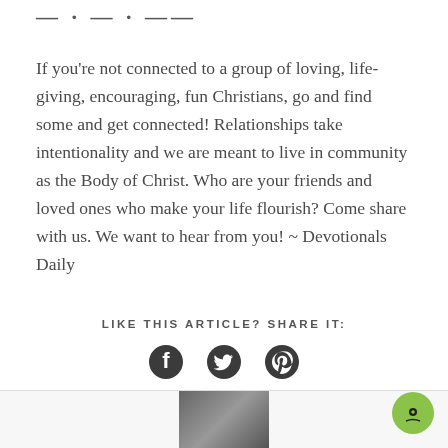— · — · ——
If you're not connected to a group of loving, life-giving, encouraging, fun Christians, go and find some and get connected! Relationships take intentionality and we are meant to live in community as the Body of Christ. Who are your friends and loved ones who make your life flourish? Come share with us. We want to hear from you! ~ Devotionals Daily
LIKE THIS ARTICLE? SHARE IT:
[Figure (infographic): Social sharing icons: Facebook, Twitter, Pinterest]
[Figure (other): Chat bubble icon (green circle with eye/chat symbol) in bottom right corner, and a partially visible photo at the bottom center]